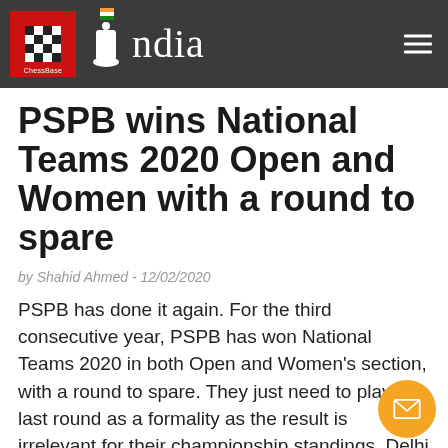ChessBase India
PSPB wins National Teams 2020 Open and Women with a round to spare
by Shahid Ahmed - 12/02/2020
PSPB has done it again. For the third consecutive year, PSPB has won National Teams 2020 in both Open and Women's section, with a round to spare. They just need to play the last round as a formality as the result is irrelevant for their championship standings. Delhi A whitewashed 0-4 by PSPB in Open and LIC lost to the PSPB 1.5-2.5 in Women's. PSPB B is at